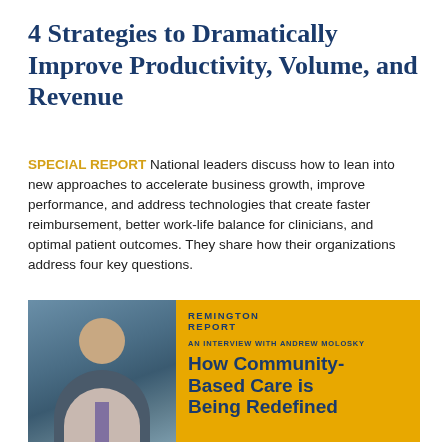4 Strategies to Dramatically Improve Productivity, Volume, and Revenue
SPECIAL REPORT National leaders discuss how to lean into new approaches to accelerate business growth, improve performance, and address technologies that create faster reimbursement, better work-life balance for clinicians, and optimal patient outcomes. They share how their organizations address four key questions.
[Figure (infographic): Remington Report interview card with photo of Andrew Molosky and golden/amber background. Title reads: AN INTERVIEW WITH ANDREW MOLOSKY - How Community-Based Care is Being Redefined]